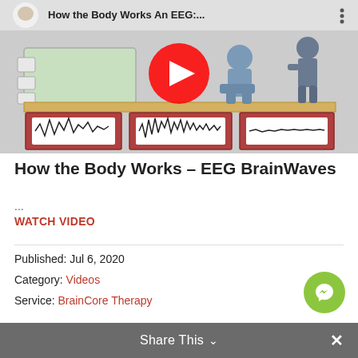[Figure (screenshot): YouTube video thumbnail showing EEG brainwave animation: 'How the Body Works An EEG:...' with play button overlay, figures of people, EEG machine, and three brainwave readout panels at bottom.]
How the Body Works – EEG BrainWaves
...
WATCH VIDEO
Published: Jul 6, 2020
Category: Videos
Service: BrainCore Therapy
Share This ∨  ×